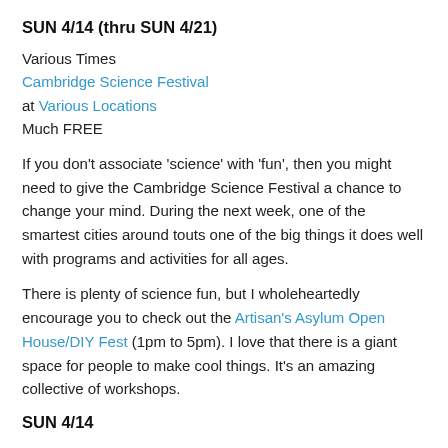SUN 4/14 (thru SUN 4/21)
Various Times
Cambridge Science Festival
at Various Locations
Much FREE
If you don't associate 'science' with 'fun', then you might need to give the Cambridge Science Festival a chance to change your mind. During the next week, one of the smartest cities around touts one of the big things it does well with programs and activities for all ages.
There is plenty of science fun, but I wholeheartedly encourage you to check out the Artisan's Asylum Open House/DIY Fest (1pm to 5pm). I love that there is a giant space for people to make cool things. It's an amazing collective of workshops.
SUN 4/14